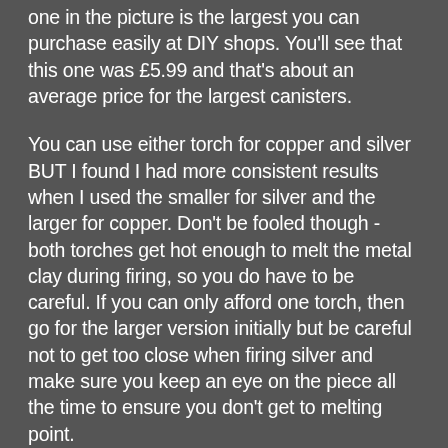one in the picture is the largest you can purchase easily at DIY shops. You'll see that this one was £5.99 and that's about an average price for the largest canisters.
You can use either torch for copper and silver BUT I found I had more consistent results when I used the smaller for silver and the larger for copper. Don't be fooled though - both torches get hot enough to melt the metal clay during firing, so you do have to be careful. If you can only afford one torch, then go for the larger version initially but be careful not to get too close when firing silver and make sure you keep an eye on the piece all the time to ensure you don't get to melting point.
The smaller torch can be purchased at Metal Clay Ltd and they have an economy version for £12.95,